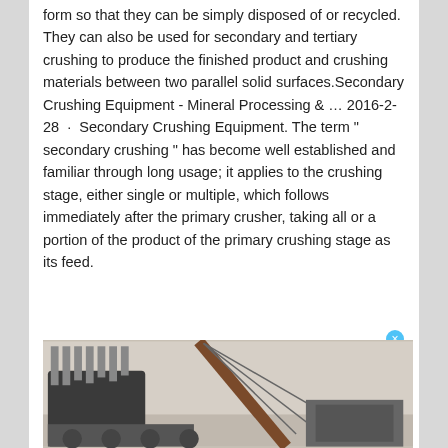form so that they can be simply disposed of or recycled. They can also be used for secondary and tertiary crushing to produce the finished product and crushing materials between two parallel solid surfaces.Secondary Crushing Equipment - Mineral Processing & … 2016-2-28 · Secondary Crushing Equipment. The term " secondary crushing " has become well established and familiar through long usage; it applies to the crushing stage, either single or multiple, which follows immediately after the primary crusher, taking all or a portion of the product of the primary crushing stage as its feed.
[Figure (other): Live Chat widget - blue speech bubble with 'Live Chat' text and an X close button]
[Figure (other): Orange 'Get Quote' button]
[Figure (photo): Industrial crushing equipment/machinery being installed with a crane, photographed outdoors]